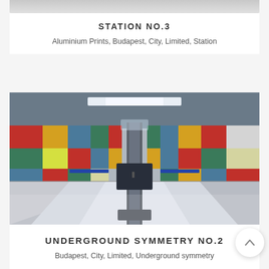[Figure (photo): Top portion of a photo card partially visible at the top of the page, showing a grey/light background image.]
STATION NO.3
Aluminium Prints, Budapest, City, Limited, Station
[Figure (photo): Interior photograph of a Budapest metro station platform with colorful geometric tiled wall panels in red, yellow, blue, green, and white. The perspective shows a symmetrical view down the platform with a central pillar and fluorescent lighting above. The floor is light-colored with reflective surfaces. The image has a slightly blurred, artistic quality.]
UNDERGROUND SYMMETRY NO.2
Budapest, City, Limited, Underground symmetry